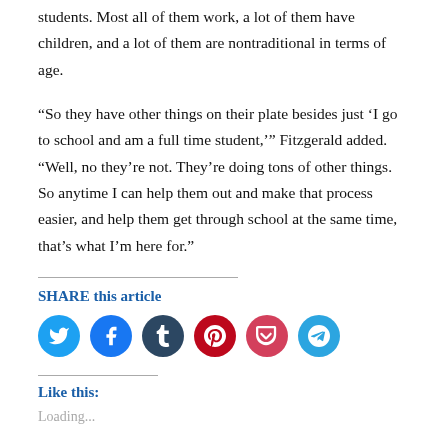students. Most all of them work, a lot of them have children, and a lot of them are nontraditional in terms of age.
“So they have other things on their plate besides just ‘I go to school and am a full time student,’” Fitzgerald added. “Well, no they’re not. They’re doing tons of other things. So anytime I can help them out and make that process easier, and help them get through school at the same time, that’s what I’m here for.”
SHARE this article
[Figure (infographic): Social sharing icons: Twitter (blue), Facebook (blue), Tumblr (dark navy), Pinterest (red), Pocket (pink-red), Telegram (light blue)]
Like this:
Loading...